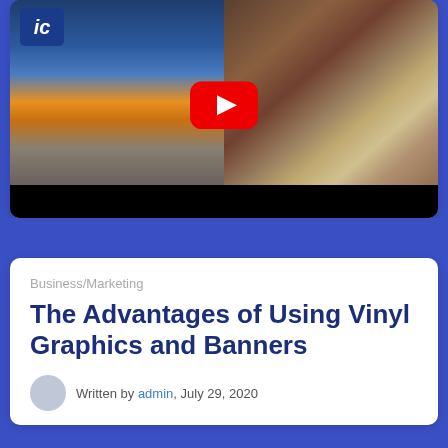[Figure (screenshot): YouTube video thumbnail showing two scenes side by side: left side shows an interior space with a blue door and colorful wall graphics with a 'IC' logo, right side shows gorillas on a wooden deck. A YouTube play button overlay is centered on the combined image. Below the images is a black bar.]
Business/Marketing
The Advantages of Using Vinyl Graphics and Banners
Written by admin, July 29, 2020